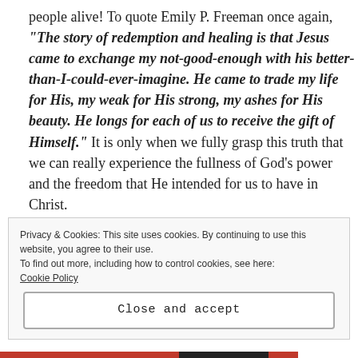people alive! To quote Emily P. Freeman once again, "The story of redemption and healing is that Jesus came to exchange my not-good-enough with his better-than-I-could-ever-imagine. He came to trade my life for His, my weak for His strong, my ashes for His beauty. He longs for each of us to receive the gift of Himself." It is only when we fully grasp this truth that we can really experience the fullness of God's power and the freedom that He intended for us to have in Christ.
Privacy & Cookies: This site uses cookies. By continuing to use this website, you agree to their use.
To find out more, including how to control cookies, see here: Cookie Policy
Close and accept